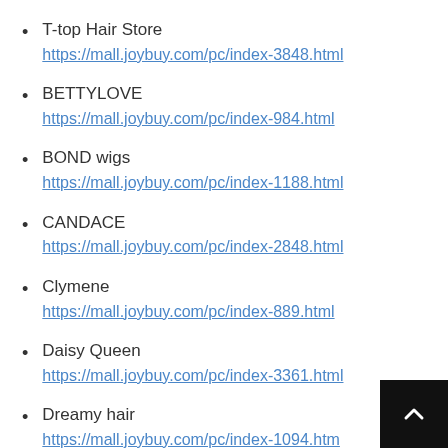T-top Hair Store
https://mall.joybuy.com/pc/index-3848.html
BETTYLOVE
https://mall.joybuy.com/pc/index-984.html
BOND wigs
https://mall.joybuy.com/pc/index-1188.html
CANDACE
https://mall.joybuy.com/pc/index-2848.html
Clymene
https://mall.joybuy.com/pc/index-889.html
Daisy Queen
https://mall.joybuy.com/pc/index-3361.html
Dreamy hair
https://mall.joybuy.com/pc/index-1094.html
Elsa hair